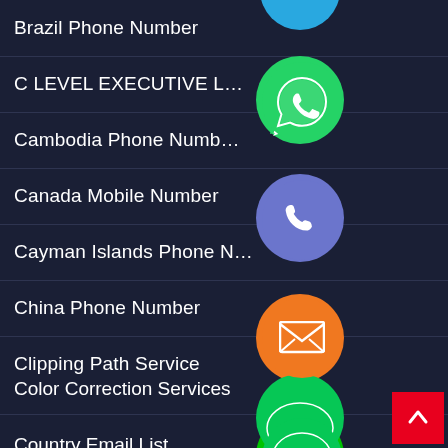Brazil Phone Number
C LEVEL EXECUTIVE L…
Cambodia Phone Number
Canada Mobile Number
Cayman Islands Phone N…
China Phone Number
Clipping Path Service
Color Correction Services
Country Email List
[Figure (screenshot): Navigation list with social media / messaging app icons (WhatsApp, phone, email, LINE, Viber, close) overlapping the list items on the right side, plus a red scroll-to-top button in the bottom-right corner.]